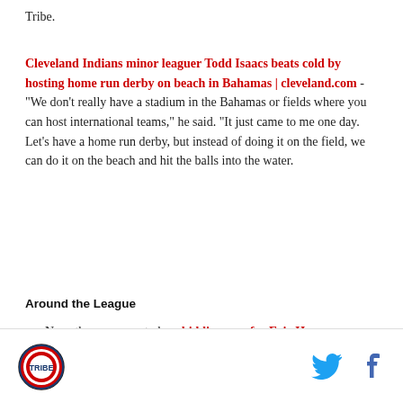Tribe.
Cleveland Indians minor leaguer Todd Isaacs beats cold by hosting home run derby on beach in Bahamas | cleveland.com - "We don't really have a stadium in the Bahamas or fields where you can host international teams," he said. "It just came to me one day. Let's have a home run derby, but instead of doing it on the field, we can do it on the beach and hit the balls into the water.
Around the League
Now, there appears to be a bidding war for Eric Hosmer
[Figure (logo): Circular sports team logo in red and blue]
[Figure (other): Twitter bird icon in blue]
[Figure (other): Facebook f icon in dark blue]